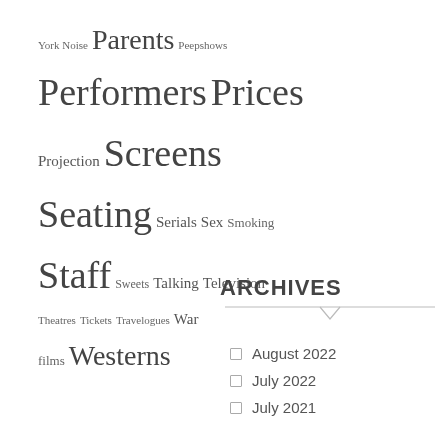York Noise Parents Peepshows
Performers Prices
Projection Screens
Seating Serials Sex Smoking
Staff Sweets Talking Television
Theatres Tickets Travelogues War films
films Westerns
ARCHIVES
August 2022
July 2022
July 2021